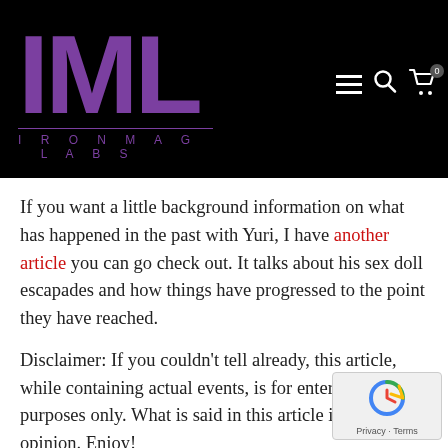[Figure (logo): IML Ironmag Labs logo in purple on black background with hamburger menu, search, and cart icons]
If you want a little background information on what has happened in the past with Yuri, I have another article you can go check out. It talks about his sex doll escapades and how things have progressed to the point they have reached.
Disclaimer: If you couldn't tell already, this article, while containing actual events, is for entertainment purposes only. What is said in this article is my opinion. Enjoy!
Of ALL the Things...